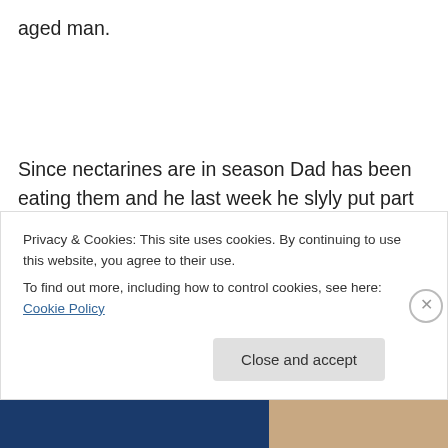aged man.
Since nectarines are in season Dad has been eating them and he last week he slyly put part of one on the back of the counter with a pit. I showed him and ate the whole thing, pit and all. He was nervous that he was going to have to pay for an expensive surgery but thank goodness, I was able to get throw it up in the middle of the night – I
Privacy & Cookies: This site uses cookies. By continuing to use this website, you agree to their use.
To find out more, including how to control cookies, see here: Cookie Policy
Close and accept